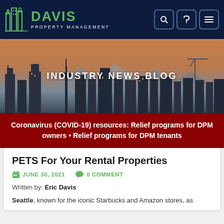[Figure (logo): Davis Property Management logo with green building icon and green DAVIS text with white PROPERTY MANAGEMENT subtitle on dark navy background]
[Figure (photo): Seattle skyline at dusk/sunset with skyscrapers and mountains in background, orange/purple sky]
INDUSTRY NEWS BLOG
Coronavirus (COVID-19) resources: Relief programs for DPM owners • Relief programs for DPM tenants
PETS For Your Rental Properties
JUNE 30, 2021   0 COMMENT
Written by: Eric Davis
Seattle, known for the iconic Starbucks and Amazon stores, as